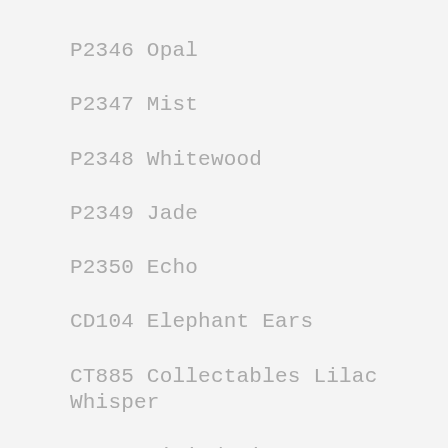P2346 Opal
P2347 Mist
P2348 Whitewood
P2349 Jade
P2350 Echo
CD104 Elephant Ears
CT885 Collectables Lilac Whisper
IT017 Mini designer template